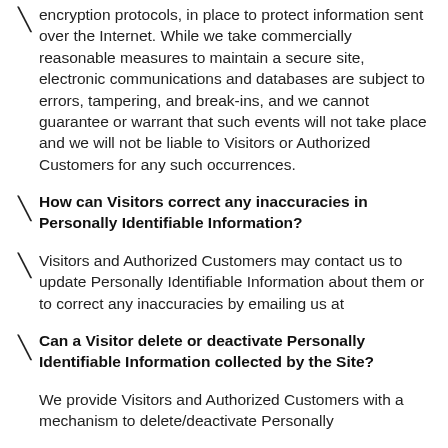encryption protocols, in place to protect information sent over the Internet. While we take commercially reasonable measures to maintain a secure site, electronic communications and databases are subject to errors, tampering, and break-ins, and we cannot guarantee or warrant that such events will not take place and we will not be liable to Visitors or Authorized Customers for any such occurrences.
How can Visitors correct any inaccuracies in Personally Identifiable Information?
Visitors and Authorized Customers may contact us to update Personally Identifiable Information about them or to correct any inaccuracies by emailing us at
Can a Visitor delete or deactivate Personally Identifiable Information collected by the Site?
We provide Visitors and Authorized Customers with a mechanism to delete/deactivate Personally